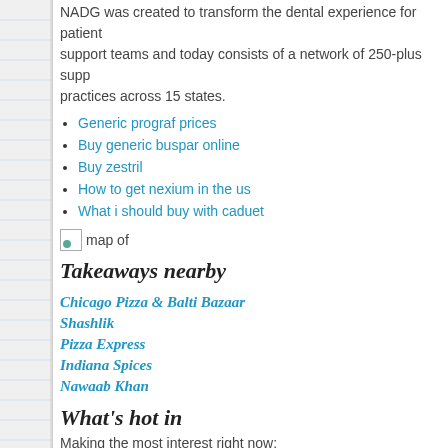NADG was created to transform the dental experience for patients, support teams and today consists of a network of 250-plus supported practices across 15 states.
Generic prograf prices
Buy generic buspar online
Buy zestril
How to get nexium in the us
What i should buy with caduet
[Figure (illustration): Small broken image icon labeled 'map of']
Takeaways nearby
Chicago Pizza & Balti Bazaar
Shashlik
Pizza Express
Indiana Spices
Nawaab Khan
What's hot in
Making the most interest right now: